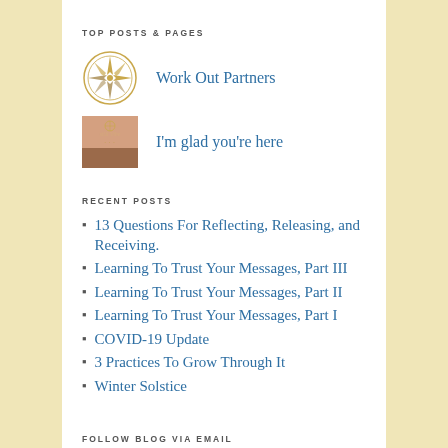TOP POSTS & PAGES
Work Out Partners
I'm glad you're here
RECENT POSTS
13 Questions For Reflecting, Releasing, and Receiving.
Learning To Trust Your Messages, Part III
Learning To Trust Your Messages, Part II
Learning To Trust Your Messages, Part I
COVID-19 Update
3 Practices To Grow Through It
Winter Solstice
FOLLOW BLOG VIA EMAIL
Enter your email address to follow this blog and